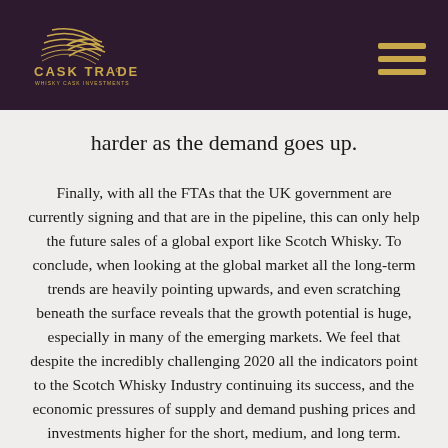Cask Trade
harder as the demand goes up.
Finally, with all the FTAs that the UK government are currently signing and that are in the pipeline, this can only help the future sales of a global export like Scotch Whisky. To conclude, when looking at the global market all the long-term trends are heavily pointing upwards, and even scratching beneath the surface reveals that the growth potential is huge, especially in many of the emerging markets. We feel that despite the incredibly challenging 2020 all the indicators point to the Scotch Whisky Industry continuing its success, and the economic pressures of supply and demand pushing prices and investments higher for the short, medium, and long term.